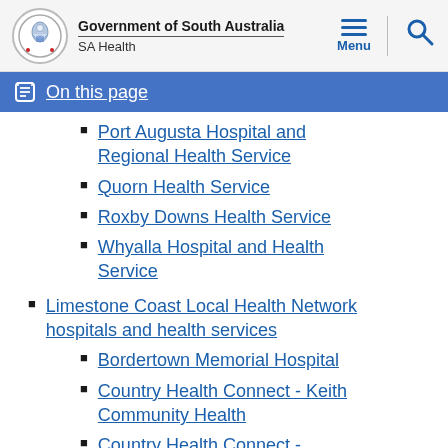Government of South Australia SA Health
On this page
Port Augusta Hospital and Regional Health Service
Quorn Health Service
Roxby Downs Health Service
Whyalla Hospital and Health Service
Limestone Coast Local Health Network hospitals and health services
Bordertown Memorial Hospital
Country Health Connect - Keith Community Health
Country Health Connect -